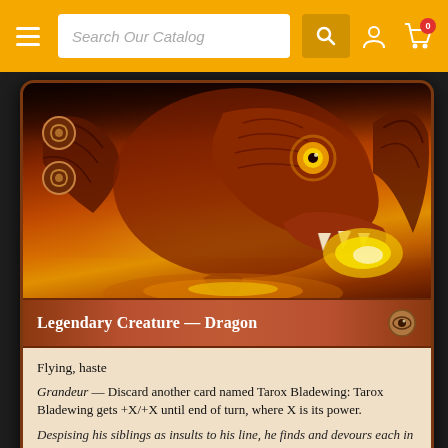Search Our Catalog
[Figure (illustration): A Magic: The Gathering card showing Tarox Bladewing, a red legendary dragon creature. The card art depicts a fierce red dragon with glowing eyes and fiery breath. Below the art is the type line 'Legendary Creature — Dragon' and text box reading: 'Flying, haste. Grandeur — Discard another card named Tarox Bladewing: Tarox Bladewing gets +X/+X until end of turn, where X is its power. Despising his siblings as insults to his line, he finds and devours each in turn.']